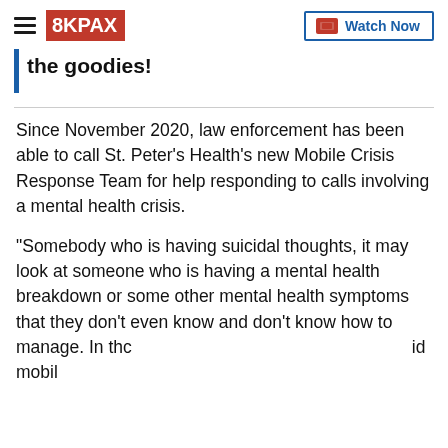8KPAX — Watch Now
the goodies!
Since November 2020, law enforcement has been able to call St. Peter's Health's new Mobile Crisis Response Team for help responding to calls involving a mental health crisis.
"Somebody who is having suicidal thoughts, it may look at someone who is having a mental health breakdown or some other mental health symptoms that they don't even know and don't know how to manage. In thc                                                                              id mobil